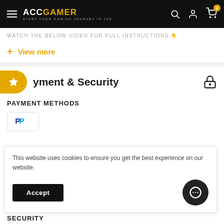[Figure (screenshot): AccGamer website navigation bar with hamburger menu, logo, search, account, and cart icons]
WATCH THE BELOW VIDEO FOR FULL INSTRUCTIONS 👇
+ View more
Payment & Security
PAYMENT METHODS
[Figure (logo): PayPal logo in a bordered box]
This website uses cookies to ensure you get the best experience on our website.
Accept
SECURITY